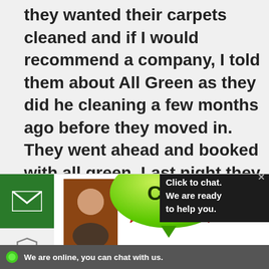they wanted their carpets cleaned and if I would recommend a company, I told them about All Green as they did he cleaning a few months ago before they moved in. They went ahead and booked with all green. Last night they sent me pictures of the living room and I couldn't believe it, the carpet looks as good as new. I am raising a star from my previous review as this is the second time they excelled in the task. Thanks guys
Natasha N.
[Figure (screenshot): Chat widget overlay with green chat bubble labeled 'Chat', a dark panel saying 'Click to chat. We are ready to help you.', and an online status bar at the bottom reading 'We are online, you can chat with us.']